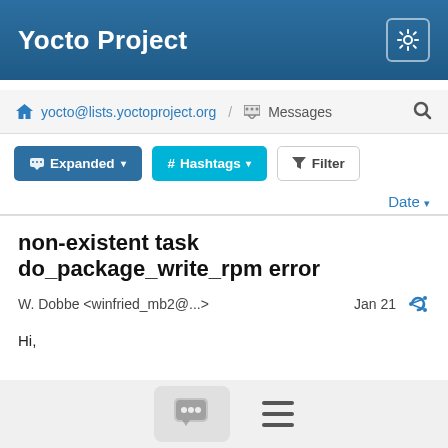Yocto Project
yocto@lists.yoctoproject.org / Messages
Expanded  # Hashtags  Filter
Date
non-existent task do_package_write_rpm error
W. Dobbe <winfried_mb2@...>   Jan 21
Hi,

I'm writing a recipe for package hardening-check .
This package builds with only a simple Makefile (that has no install target). The recipe only installs a script hardening-check in